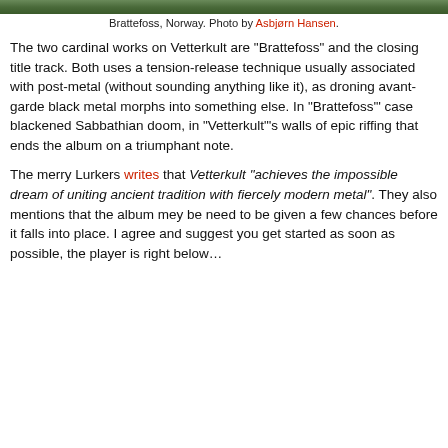[Figure (photo): Top strip showing a photo of Brattefoss, Norway — a natural landscape scene.]
Brattefoss, Norway. Photo by Asbjørn Hansen.
The two cardinal works on Vetterkult are "Brattefoss" and the closing title track. Both uses a tension-release technique usually associated with post-metal (without sounding anything like it), as droning avant-garde black metal morphs into something else. In "Brattefoss'" case blackened Sabbathian doom, in "Vetterkult"'s walls of epic riffing that ends the album on a triumphant note.
The merry Lurkers writes that Vetterkult "achieves the impossible dream of uniting ancient tradition with fiercely modern metal". They also mentions that the album mey be need to be given a few chances before it falls into place. I agree and suggest you get started as soon as possible, the player is right below…